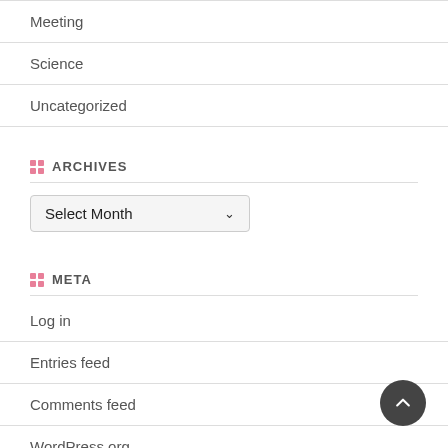Meeting
Science
Uncategorized
ARCHIVES
Select Month
META
Log in
Entries feed
Comments feed
WordPress.org